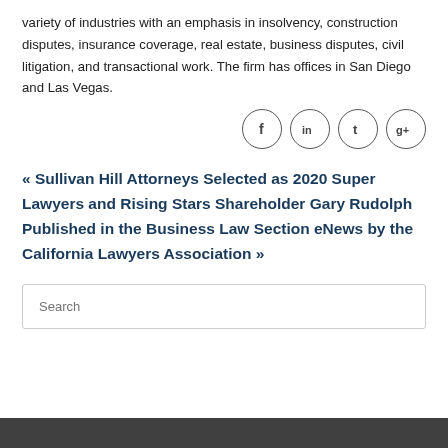variety of industries with an emphasis in insolvency, construction disputes, insurance coverage, real estate, business disputes, civil litigation, and transactional work. The firm has offices in San Diego and Las Vegas.
[Figure (other): Four circular social media icon buttons: Facebook (f), LinkedIn (in), Twitter (t), Google+ (g+)]
« Sullivan Hill Attorneys Selected as 2020 Super Lawyers and Rising Stars Shareholder Gary Rudolph Published in the Business Law Section eNews by the California Lawyers Association »
Search